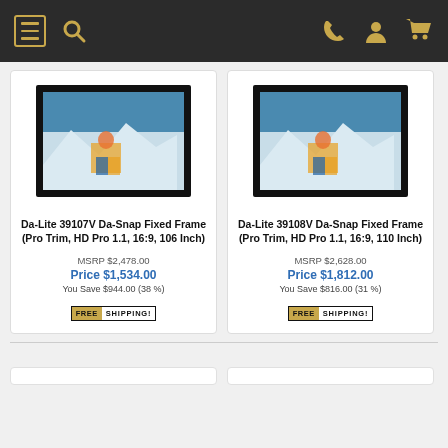Navigation header with menu, search, phone, account, and cart icons
[Figure (photo): Da-Lite 39107V projection screen with black frame showing snowboarders on a mountain]
Da-Lite 39107V Da-Snap Fixed Frame (Pro Trim, HD Pro 1.1, 16:9, 106 Inch)
MSRP $2,478.00
Price $1,534.00
You Save $944.00 (38 %)
[Figure (photo): Da-Lite 39108V projection screen with black frame showing snowboarders on a mountain]
Da-Lite 39108V Da-Snap Fixed Frame (Pro Trim, HD Pro 1.1, 16:9, 110 Inch)
MSRP $2,628.00
Price $1,812.00
You Save $816.00 (31 %)